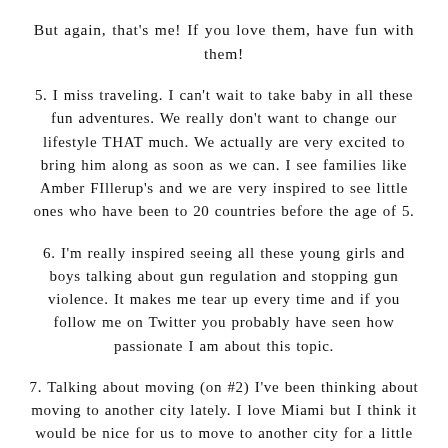But again, that's me! If you love them, have fun with them!
5. I miss traveling. I can't wait to take baby in all these fun adventures. We really don't want to change our lifestyle THAT much. We actually are very excited to bring him along as soon as we can. I see families like Amber FIllerup's and we are very inspired to see little ones who have been to 20 countries before the age of 5.
6. I'm really inspired seeing all these young girls and boys talking about gun regulation and stopping gun violence. It makes me tear up every time and if you follow me on Twitter you probably have seen how passionate I am about this topic.
7. Talking about moving (on #2) I've been thinking about moving to another city lately. I love Miami but I think it would be nice for us to move to another city for a little bit (or a while who knows). I was thinking Dallas just because I